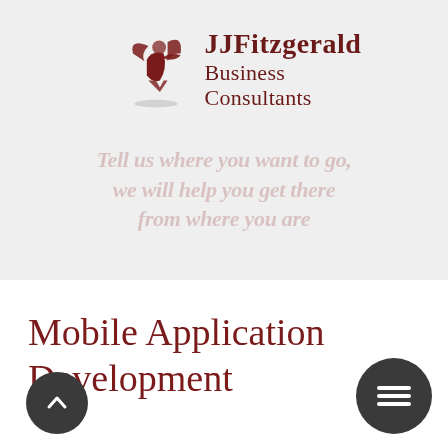[Figure (logo): JJFitzgerald Business Consultants logo with a dark red angel/figure icon and italic company name text]
Tell us where you want to go,
we will help you get there
from where you are
Mobile Application Development